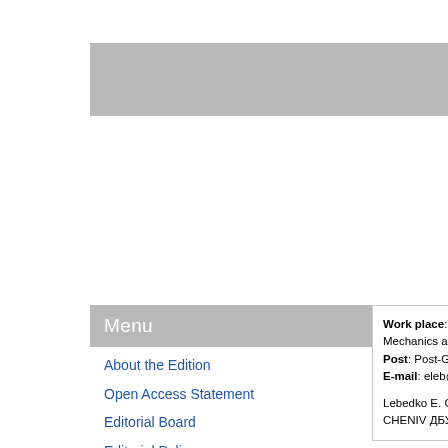[Figure (other): Gray header bar at top of page (decorative/navigation element)]
Menu
About the Edition
Open Access Statement
Editorial Board
Editorial Policy
Editorial Ethics
Work place: S Mechanics and C Post: Post-Gradu E-mail: eleb@ra Lebedko E. G., N СHENIV ДБУТЗ